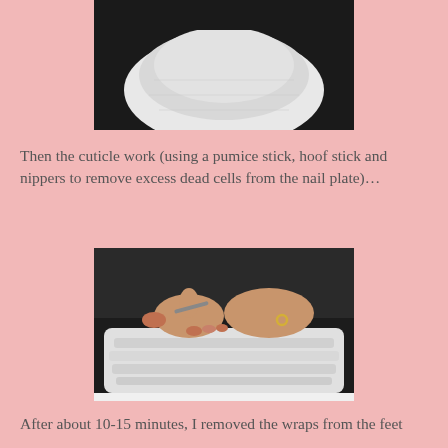[Figure (photo): Photo of feet wrapped in white towel, top portion visible, dark background]
Then the cuticle work (using a pumice stick, hoof stick and nippers to remove excess dead cells from the nail plate)…
[Figure (photo): Photo of hands performing cuticle work on toes wrapped in white towel, person wearing ring on right hand]
After about 10-15 minutes, I removed the wraps from the feet